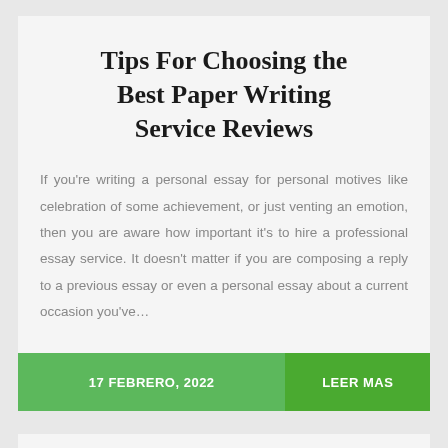Tips For Choosing the Best Paper Writing Service Reviews
If you're writing a personal essay for personal motives like celebration of some achievement, or just venting an emotion, then you are aware how important it's to hire a professional essay service. It doesn't matter if you are composing a reply to a previous essay or even a personal essay about a current occasion you've…
17 FEBRERO, 2022   LEER MAS